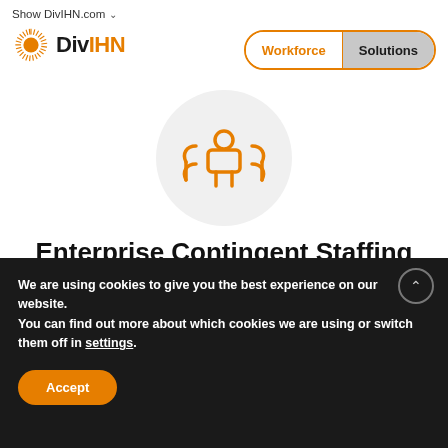Show DivIHN.com
[Figure (logo): DivIHN logo with orange sunburst icon and bold text 'DivIHN' with orange 'IHN']
[Figure (other): Workforce / Solutions toggle button with orange outline, 'Workforce' in orange text, 'Solutions' in dark text on grey background]
[Figure (illustration): Orange contractor/staffing icon inside a light grey circle — stylized figure with curved bracket arms]
Enterprise Contingent Staffing
Specialized contractors for short-term needs, with the option of permanently hiring the contractor as an employee at an appropriate time
We are using cookies to give you the best experience on our website.
You can find out more about which cookies we are using or switch them off in settings.
Accept